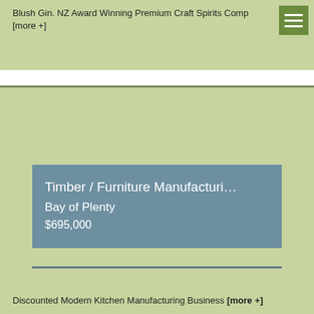Blush Gin. NZ Award Winning Premium Craft Spirits Comp [more +]
[Figure (other): Green menu/hamburger icon button in top-right corner]
Timber / Furniture Manufacturin... Bay of Plenty $695,000
Discounted Modern Kitchen Manufacturing Business [more +]